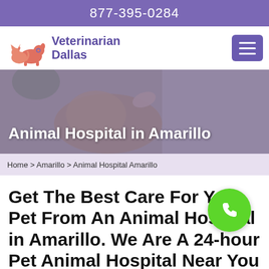877-395-0284
[Figure (logo): Veterinarian Dallas logo with orange/pink silhouettes of a cat and dog]
[Figure (photo): Hero image background showing a veterinarian examining a small dog]
Animal Hospital in Amarillo
Home > Amarillo > Animal Hospital Amarillo
Get The Best Care For Your Pet From An Animal Hospital in Amarillo. We Are A 24-hour Pet Animal Hospital Near You That Provides All Creatures, Pets...
[Figure (infographic): Green circular phone call button overlay]